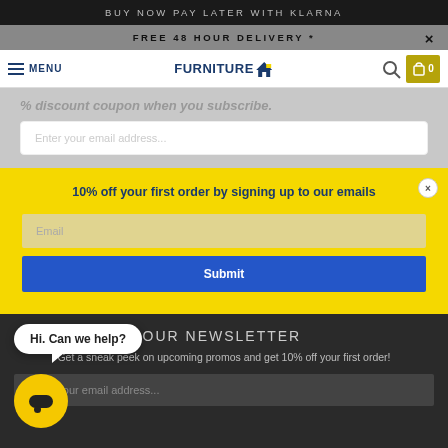Buy Now Pay Later With Klarna
Free 48 Hour Delivery *
MENU — FurnitureBox logo — Search — Cart 0
% discount coupon when you subscribe.
Enter your email address...
10% off your first order by signing up to our emails
Email
Submit
SIGN UP FOR OUR NEWSLETTER
Get a sneak peek on upcoming promos and get 10% off your first order!
Enter your email address...
Hi. Can we help?